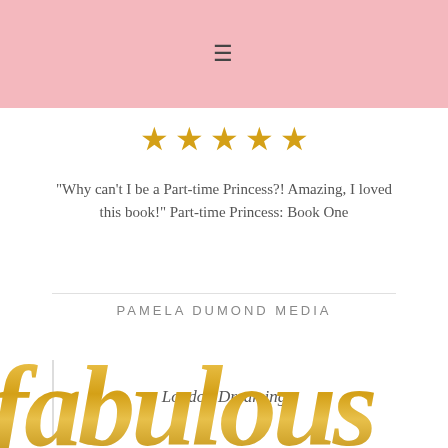≡
[Figure (illustration): Five gold star rating icons in a row]
"Why can't I be a Part-time Princess?! Amazing, I loved this book!" Part-time Princess: Book One
London Dreaming
PAMELA DUMOND MEDIA
[Figure (illustration): Large gold cursive script text reading 'fabulous' partially visible at the bottom of the page]